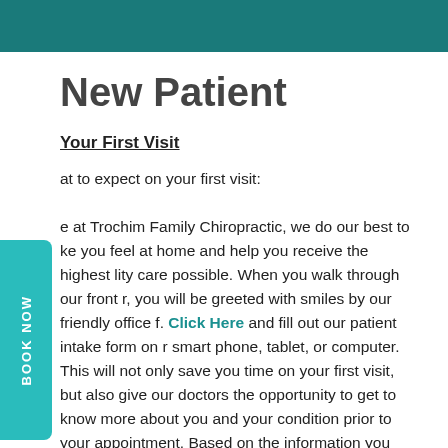New Patient
Your First Visit
at to expect on your first visit: e at Trochim Family Chiropractic, we do our best to ke you feel at home and help you receive the highest lity care possible. When you walk through our front r, you will be greeted with smiles by our friendly office f. Click Here and fill out our patient intake form on r smart phone, tablet, or computer. This will not only save you time on your first visit, but also give our doctors the opportunity to get to know more about you and your condition prior to your appointment. Based on the information you provide on the intake forms, there may